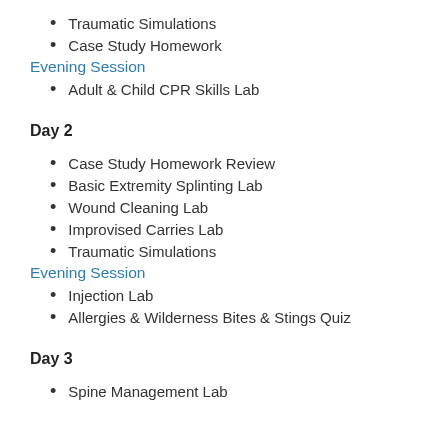Traumatic Simulations
Case Study Homework
Evening Session
Adult & Child CPR Skills Lab
Day 2
Case Study Homework Review
Basic Extremity Splinting Lab
Wound Cleaning Lab
Improvised Carries Lab
Traumatic Simulations
Evening Session
Injection Lab
Allergies & Wilderness Bites & Stings Quiz
Day 3
Spine Management Lab